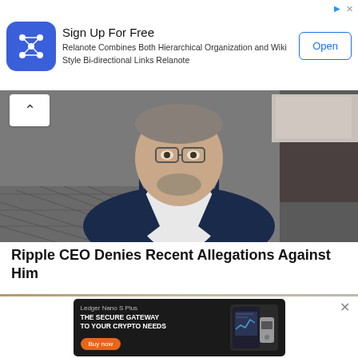[Figure (infographic): Advertisement banner: Relanote app icon (blue square with node graph), title 'Sign Up For Free', description 'Relanote Combines Both Hierarchical Organization and Wiki Style Bi-directional Links Relanote', and an 'Open' button. Arrow and X icons in top right.]
[Figure (photo): Video thumbnail showing a middle-aged man with glasses and grey beard wearing a dark navy blazer over a white shirt, seated in front of a modern room background. A chevron-up (^) button overlays the top-left corner.]
Ripple CEO Denies Recent Allegations Against Him
[Figure (infographic): Advertisement for Ledger Nano S Plus: dark background with text 'Ledger Nano S Plus', 'THE SECURE GATEWAY TO YOUR CRYPTO NEEDS', an orange 'Buy now' button, and an image of a smartphone display showing crypto prices alongside a Ledger hardware wallet device. An X close button is to the right.]